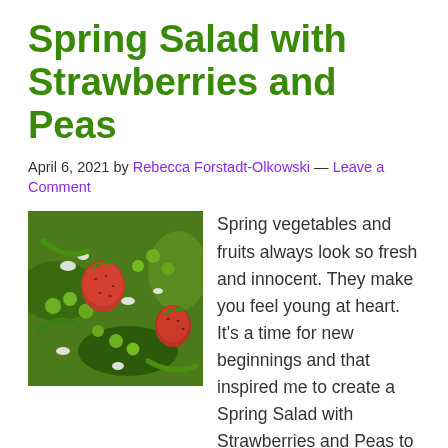Spring Salad with Strawberries and Peas
April 6, 2021 by Rebecca Forstadt-Olkowski — Leave a Comment
[Figure (photo): Close-up photo of a spring salad with strawberries, peas, green vegetables, and white crumbled cheese]
Spring vegetables and fruits always look so fresh and innocent. They make you feel young at heart. It's a time for new beginnings and that inspired me to create a Spring Salad with Strawberries and Peas to bring in the season. Enjoy this recipe for Spring Salad with Strawberries and Peas! The stores are filled with mixtures of pre-washed baby greens making it easy